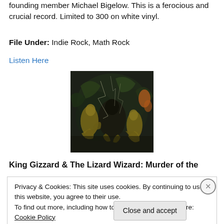founding member Michael Bigelow. This is a ferocious and crucial record. Limited to 300 on white vinyl.
File Under: Indie Rock, Math Rock
Listen Here
[Figure (illustration): Dark album artwork showing figures with green and yellow coloring against a dark chaotic background]
King Gizzard & The Lizard Wizard: Murder of the
Privacy & Cookies: This site uses cookies. By continuing to use this website, you agree to their use.
To find out more, including how to control cookies, see here: Cookie Policy
Close and accept